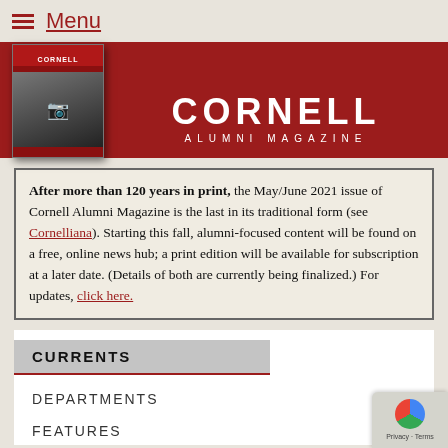Menu
[Figure (logo): Cornell Alumni Magazine header banner with magazine cover image on the left and CORNELL ALUMNI MAGAZINE text in white on dark red background]
After more than 120 years in print, the May/June 2021 issue of Cornell Alumni Magazine is the last in its traditional form (see Cornelliana). Starting this fall, alumni-focused content will be found on a free, online news hub; a print edition will be available for subscription at a later date. (Details of both are currently being finalized.) For updates, click here.
CURRENTS
DEPARTMENTS
FEATURES